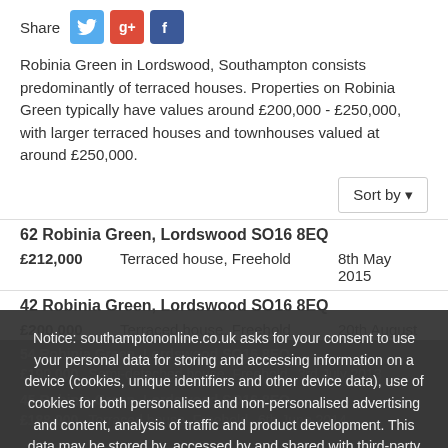Share
Robinia Green in Lordswood, Southampton consists predominantly of terraced houses. Properties on Robinia Green typically have values around £200,000 - £250,000, with larger terraced houses and townhouses valued at around £250,000.
62 Robinia Green, Lordswood SO16 8EQ
£212,000  Terraced house, Freehold  8th May 2015
42 Robinia Green, Lordswood SO16 8EQ
£200,000  Terraced house, Freehold  20th August 2013
54 Robinia Green, Lordswood SO16 8EQ
£190,000  Semi-detached house, Freehold  3rd July 2013
45 Robinia Green, Lordswood SO16 8EQ
£188,000  Terraced house, Freehold  6th June 2014
Notice: southamptononline.co.uk asks for your consent to use your personal data for storing and accessing information on a device (cookies, unique identifiers and other device data), use of cookies for both personalised and non-personalised advertising and content, analysis of traffic and product development. This data may be stored by, accessed by and shared with third-party vendors. Learn more